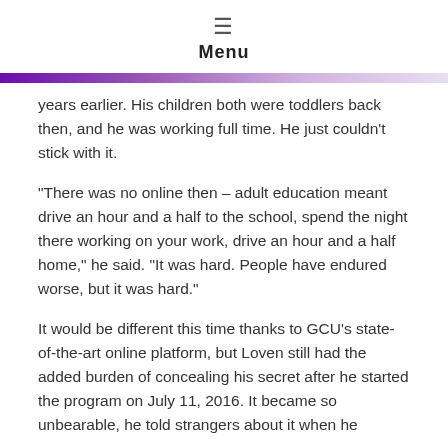Menu
years earlier. His children both were toddlers back then, and he was working full time. He just couldn't stick with it.
“There was no online then – adult education meant drive an hour and a half to the school, spend the night there working on your work, drive an hour and a half home,” he said. “It was hard. People have endured worse, but it was hard.”
It would be different this time thanks to GCU’s state-of-the-art online platform, but Loven still had the added burden of concealing his secret after he started the program on July 11, 2016. It became so unbearable, he told strangers about it when he